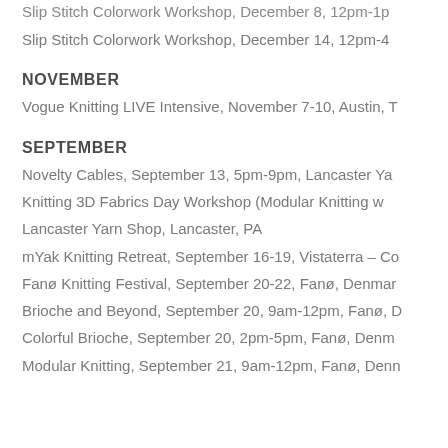Slip Stitch Colorwork Workshop, December 8, 12pm-1pm
Slip Stitch Colorwork Workshop, December 14, 12pm-4
NOVEMBER
Vogue Knitting LIVE Intensive, November 7-10, Austin, T
SEPTEMBER
Novelty Cables, September 13, 5pm-9pm, Lancaster Ya
Knitting 3D Fabrics Day Workshop (Modular Knitting w
Lancaster Yarn Shop, Lancaster, PA
mYak Knitting Retreat, September 16-19, Vistaterra – Ca
Fanø Knitting Festival, September 20-22, Fanø, Denmar
Brioche and Beyond, September 20, 9am-12pm, Fanø, D
Colorful Brioche, September 20, 2pm-5pm, Fanø, Denm
Modular Knitting, September 21, 9am-12pm, Fanø, Denn